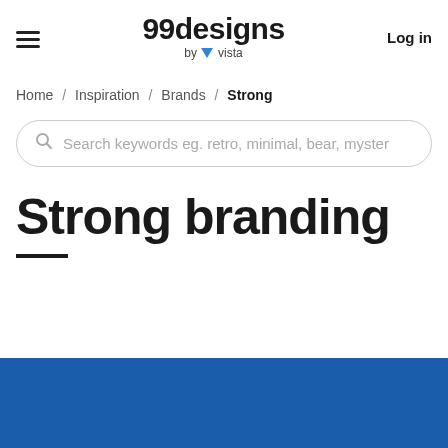99designs by vista | Log in
Home / Inspiration / Brands / Strong
Search keywords eg. retro, minimal, bear, myster
Strong branding
[Figure (photo): Blue background image, bottom strip of a branding inspiration page]